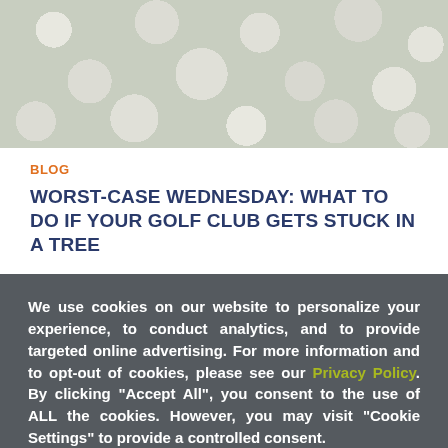[Figure (photo): Close-up photo of multiple white and light-colored golf balls piled together]
BLOG
WORST-CASE WEDNESDAY: WHAT TO DO IF YOUR GOLF CLUB GETS STUCK IN A TREE
We use cookies on our website to personalize your experience, to conduct analytics, and to provide targeted online advertising. For more information and to opt-out of cookies, please see our Privacy Policy. By clicking "Accept All", you consent to the use of ALL the cookies. However, you may visit "Cookie Settings" to provide a controlled consent.